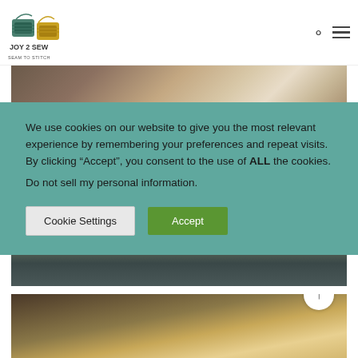JOY 2 SEW
[Figure (photo): Person's face/head visible behind overlaid cookie consent banner]
We use cookies on our website to give you the most relevant experience by remembering your preferences and repeat visits. By clicking “Accept”, you consent to the use of ALL the cookies.
Do not sell my personal information.
Cookie Settings
Accept
[Figure (photo): Close-up face of a person with light background]